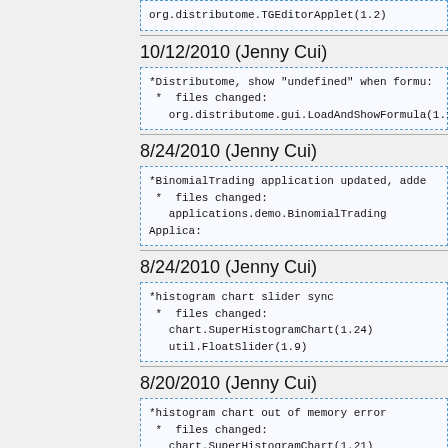org.distributome.TGEditorApplet(1.2)
10/12/2010 (Jenny Cui)
*Distributome, show "undefined" when formu...
*  files changed:
   org.distributome.gui.LoadAndShowFormula(1.1...
8/24/2010 (Jenny Cui)
*BinomialTrading application updated, adde...
*  files changed:
   applications.demo.BinomialTrading Applica...
8/24/2010 (Jenny Cui)
*histogram chart slider sync
*  files changed:
   chart.SuperHistogramChart(1.24)
   util.FloatSlider(1.9)
8/20/2010 (Jenny Cui)
*histogram chart out of memory error
*  files changed:
   chart.SuperHistogramChart(1.21)